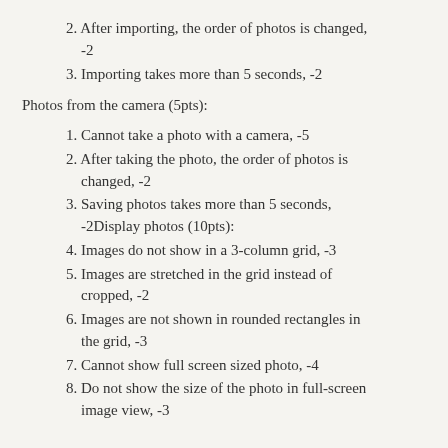2. After importing, the order of photos is changed, -2
3. Importing takes more than 5 seconds, -2
Photos from the camera (5pts):
1. Cannot take a photo with a camera, -5
2. After taking the photo, the order of photos is changed, -2
3. Saving photos takes more than 5 seconds, -2Display photos (10pts):
4. Images do not show in a 3-column grid, -3
5. Images are stretched in the grid instead of cropped, -2
6. Images are not shown in rounded rectangles in the grid, -3
7. Cannot show full screen sized photo, -4
8. Do not show the size of the photo in full-screen image view, -3